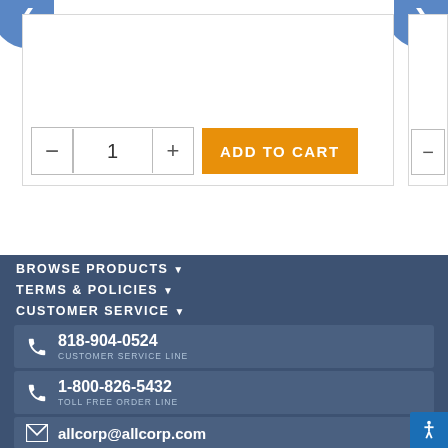[Figure (screenshot): E-commerce product carousel with navigation arrows, white product card area, quantity selector showing '1' with minus and plus buttons, and an orange 'ADD TO CART' button. A partial second product card is visible on the right edge.]
BROWSE PRODUCTS ▼
TERMS & POLICIES ▼
CUSTOMER SERVICE ▼
818-904-0524 CUSTOMER SERVICE LINE
1-800-826-5432 TOLL FREE ORDER LINE
allcorp@allcorp.com